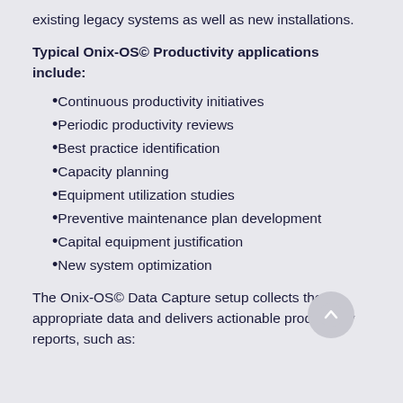existing legacy systems as well as new installations.
Typical Onix-OS© Productivity applications include:
Continuous productivity initiatives
Periodic productivity reviews
Best practice identification
Capacity planning
Equipment utilization studies
Preventive maintenance plan development
Capital equipment justification
New system optimization
The Onix-OS© Data Capture setup collects the appropriate data and delivers actionable productivity reports, such as: